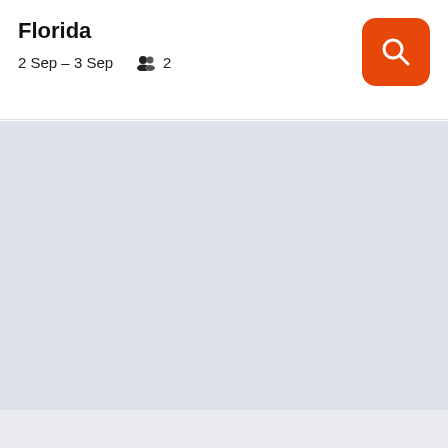Florida
2 Sep – 3 Sep  👥 2
[Figure (screenshot): Orange search button with magnifying glass icon]
[Figure (other): Light blue-grey empty content area]